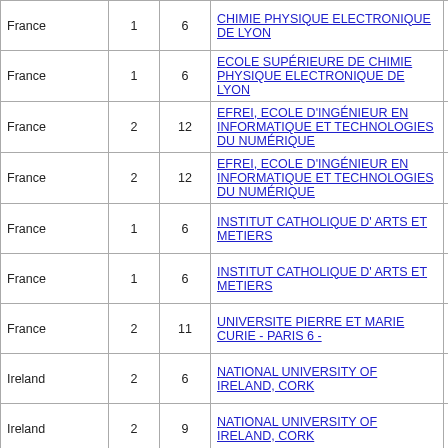| Country | Col1 | Col2 | Institution | PDF |
| --- | --- | --- | --- | --- |
| France | 1 | 6 | CHIMIE PHYSIQUE ELECTRONIQUE DE LYON | PDF |
| France | 1 | 6 | ECOLE SUPÉRIEURE DE CHIMIE PHYSIQUE ELECTRONIQUE DE LYON | PDF |
| France | 2 | 12 | EFREI, ECOLE D'INGÉNIEUR EN INFORMATIQUE ET TECHNOLOGIES DU NUMÉRIQUE | PDF |
| France | 2 | 12 | EFREI, ECOLE D'INGÉNIEUR EN INFORMATIQUE ET TECHNOLOGIES DU NUMÉRIQUE | PDF |
| France | 1 | 6 | INSTITUT CATHOLIQUE D' ARTS ET METIERS | PDF |
| France | 1 | 6 | INSTITUT CATHOLIQUE D' ARTS ET METIERS | PDF |
| France | 2 | 11 | UNIVERSITE PIERRE ET MARIE CURIE - PARIS 6 - | PDF |
| Ireland | 2 | 6 | NATIONAL UNIVERSITY OF IRELAND, CORK | PDF |
| Ireland | 2 | 9 | NATIONAL UNIVERSITY OF IRELAND, CORK | PDF |
| Lithuania | 1 | 6 | KAUNO TECHNOLOGIJOS UNIVERSITETAS | PDF |